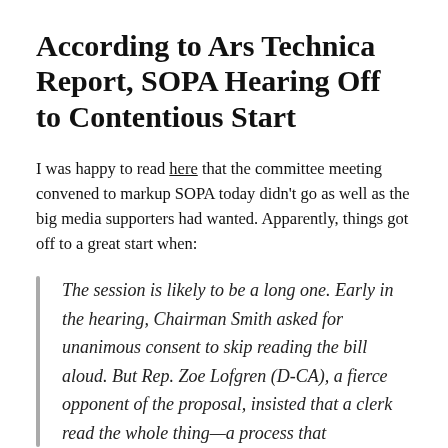According to Ars Technica Report, SOPA Hearing Off to Contentious Start
I was happy to read here that the committee meeting convened to markup SOPA today didn't go as well as the big media supporters had wanted. Apparently, things got off to a great start when:
The session is likely to be a long one. Early in the hearing, Chairman Smith asked for unanimous consent to skip reading the bill aloud. But Rep. Zoe Lofgren (D-CA), a fierce opponent of the proposal, insisted that a clerk read the whole thing—a process that